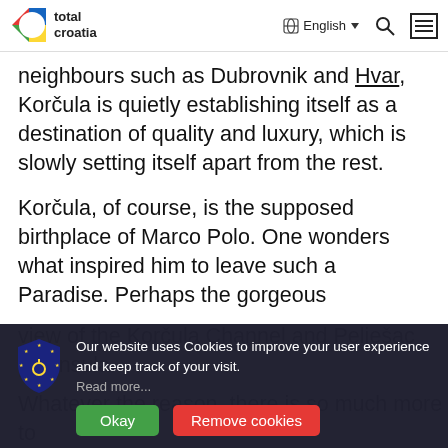total croatia | English | Search | Menu
neighbours such as Dubrovnik and Hvar, Korčula is quietly establishing itself as a destination of quality and luxury, which is slowly setting itself apart from the rest.
Korčula, of course, is the supposed birthplace of Marco Polo. One wonders what inspired him to leave such a Paradise. Perhaps the gorgeous
view of the Korčula Channel and Pelješac peninsula...
Whatever the reason, there is so much more to
Our website uses Cookies to improve your user experience and keep track of your visit. Read more... Okay | Remove cookies